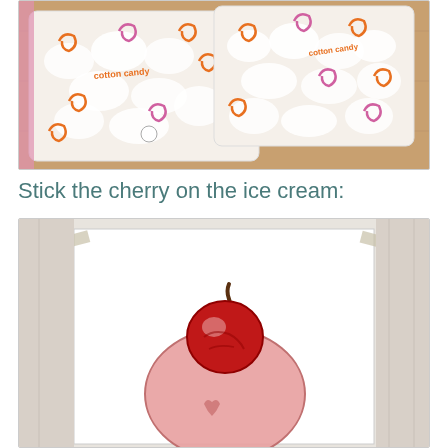[Figure (photo): Two bags of cotton candy with colorful swirl designs in orange and pink on white packaging, sitting on a wooden surface]
Stick the cherry on the ice cream:
[Figure (photo): A drawing/illustration of a cherry on top of an ice cream scoop, drawn on white paper taped to a white surface]